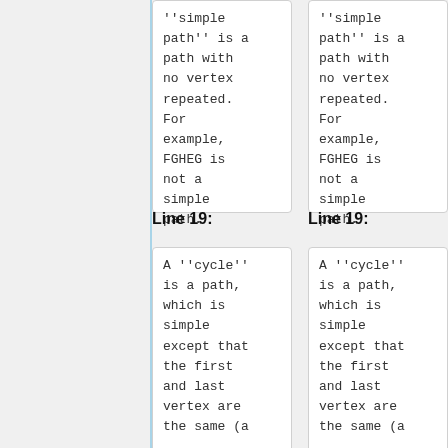''simple path'' is a path with no vertex repeated. For example, FGHEG is not a simple path.
''simple path'' is a path with no vertex repeated. For example, FGHEG is not a simple path.
Line 19:
Line 19:
A ''cycle'' is a path, which is simple except that the first and last vertex are the same (a...
A ''cycle'' is a path, which is simple except that the first and last vertex are the same (a...